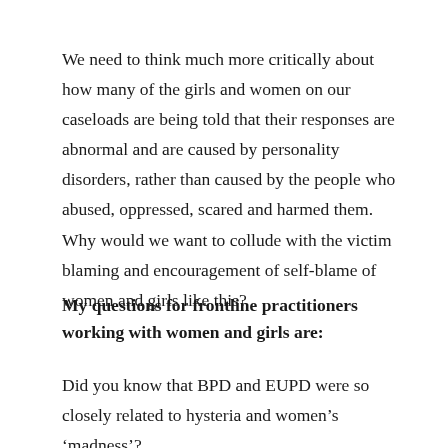We need to think much more critically about how many of the girls and women on our caseloads are being told that their responses are abnormal and are caused by personality disorders, rather than caused by the people who abused, oppressed, scared and harmed them. Why would we want to collude with the victim blaming and encouragement of self-blame of women and girls like this?
My questions for frontline practitioners working with women and girls are:
Did you know that BPD and EUPD were so closely related to hysteria and women's ‘madness’?